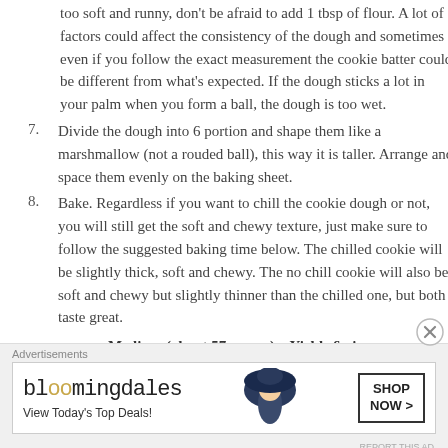too soft and runny, don't be afraid to add 1 tbsp of flour. A lot of factors could affect the consistency of the dough and sometimes even if you follow the exact measurement the cookie batter could be different from what's expected. If the dough sticks a lot in your palm when you form a ball, the dough is too wet.
7. Divide the dough into 6 portion and shape them like a marshmallow (not a rouded ball), this way it is taller. Arrange and space them evenly on the baking sheet.
8. Bake. Regardless if you want to chill the cookie dough or not, you will still get the soft and chewy texture, just make sure to follow the suggested baking time below. The chilled cookie will be slightly thick, soft and chewy. The no chill cookie will also be soft and chewy but slightly thinner than the chilled one, but both taste great.
Medium (about 57 grams) – Yields 6 pieces:
Advertisements
[Figure (other): Bloomingdale's advertisement banner with logo, tagline 'View Today's Top Deals!' and 'SHOP NOW >' button, woman with large hat image]